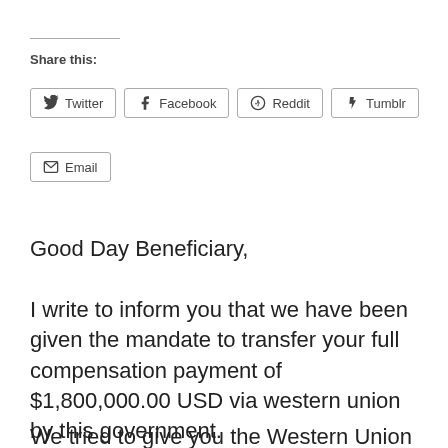Share this:
Twitter  Facebook  Reddit  Tumblr  Email
Good Day Beneficiary,
I write to inform you that we have been given the mandate to transfer your full compensation payment of $1,800,000.00 USD via western union by this government.
We tried to give you the Western Union